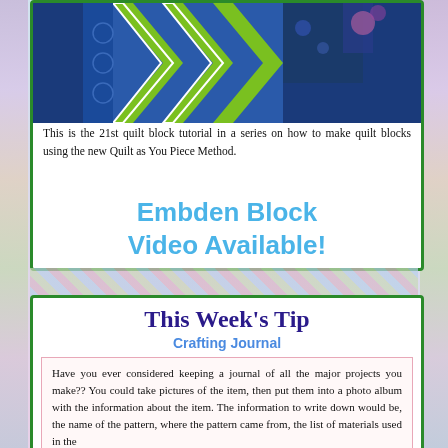[Figure (photo): Quilt block image showing blue and green chevron/patchwork pattern]
This is the 21st quilt block tutorial in a series on how to make quilt blocks using the new Quilt as You Piece Method.
Embden Block Video Available!
This Week's Tip
Crafting Journal
Have you ever considered keeping a journal of all the major projects you make?? You could take pictures of the item, then put them into a photo album with the information about the item. The information to write down would be, the name of the pattern, where the pattern came from, the list of materials used in the